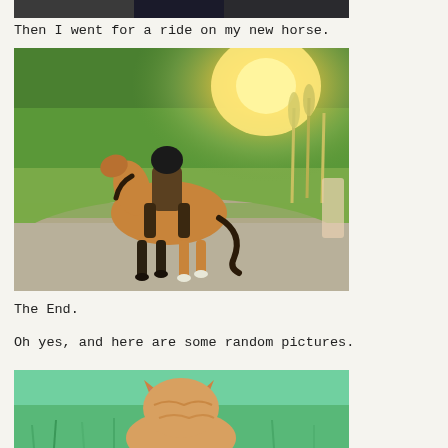[Figure (photo): Partial top photo, cropped at top of page — appears to show a person, cut off]
Then I went for a ride on my new horse.
[Figure (photo): A toy horse figurine with a rider wearing a helmet, photographed outdoors on a path with greenery and golden sunset light in the background]
The End.
Oh yes, and here are some random pictures.
[Figure (photo): Partial bottom photo showing a cat (likely orange tabby) seen from behind, sitting in green grass, cropped at bottom of page]